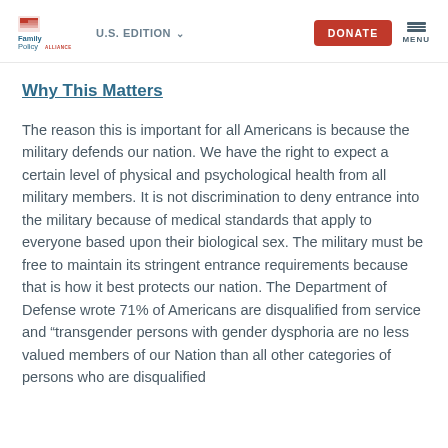Family Policy Alliance | U.S. EDITION | DONATE | MENU
Why This Matters
The reason this is important for all Americans is because the military defends our nation. We have the right to expect a certain level of physical and psychological health from all military members. It is not discrimination to deny entrance into the military because of medical standards that apply to everyone based upon their biological sex. The military must be free to maintain its stringent entrance requirements because that is how it best protects our nation. The Department of Defense wrote 71% of Americans are disqualified from service and “transgender persons with gender dysphoria are no less valued members of our Nation than all other categories of persons who are disqualified